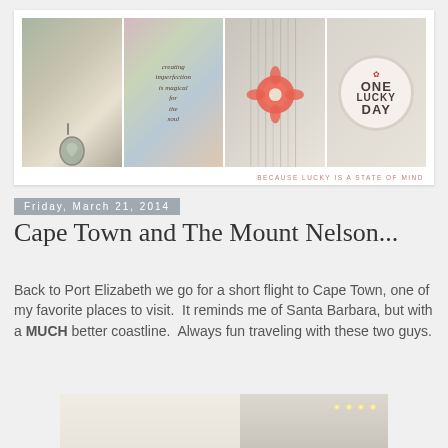[Figure (photo): Blog header banner for 'One Lucky Day' blog — four photo panels side by side: decorative metal charm, colorful mixed media art with text 'creating imperfection is magical for the soul', striped fabric with coral flower, and shelving display with circle logo. Tagline: BECAUSE LUCKY IS A STATE OF MIND]
Friday, March 21, 2014
Cape Town and The Mount Nelson...
Back to Port Elizabeth we go for a short flight to Cape Town, one of my favorite places to visit.  It reminds me of Santa Barbara, but with a MUCH better coastline.  Always fun traveling with these two guys.
[Figure (photo): Partially visible interior photo, appears to be a bright room with recessed lighting in ceiling, light walls and trim]